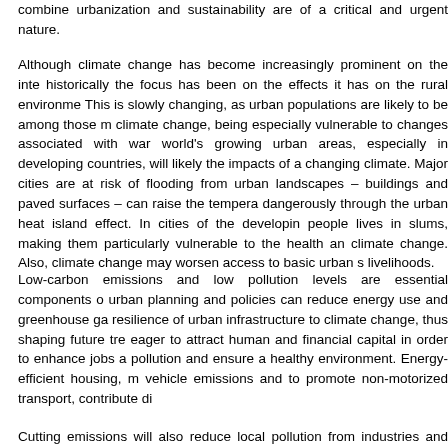combine urbanization and sustainability are of a critical and urgent nature.
Although climate change has become increasingly prominent on the inte... historically the focus has been on the effects it has on the rural environme... This is slowly changing, as urban populations are likely to be among those m... climate change, being especially vulnerable to changes associated with warm... world's growing urban areas, especially in developing countries, will likely... the impacts of a changing climate. Major cities are at risk of flooding from... urban landscapes – buildings and paved surfaces – can raise the tempera... dangerously through the urban heat island effect. In cities of the developin... people lives in slums, making them particularly vulnerable to the health an... climate change. Also, climate change may worsen access to basic urban s... livelihoods.
Low-carbon emissions and low pollution levels are essential components o... urban planning and policies can reduce energy use and greenhouse ga... resilience of urban infrastructure to climate change, thus shaping future tre... eager to attract human and financial capital in order to enhance jobs a... pollution and ensure a healthy environment. Energy-efficient housing, m... vehicle emissions and to promote non-motorized transport, contribute di...
Cutting emissions will also reduce local pollution from industries and tran...